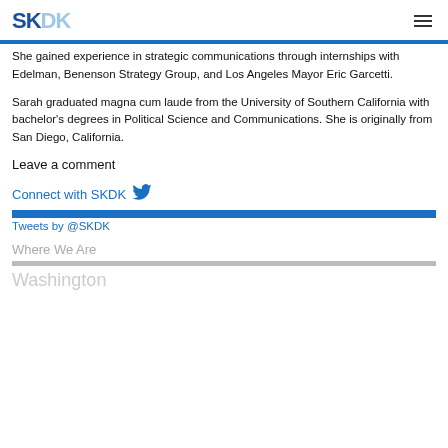SKDK
She gained experience in strategic communications through internships with Edelman, Benenson Strategy Group, and Los Angeles Mayor Eric Garcetti.
Sarah graduated magna cum laude from the University of Southern California with bachelor's degrees in Political Science and Communications. She is originally from San Diego, California.
Leave a comment
Connect with SKDK
Tweets by @SKDK
Where We Are
Washington